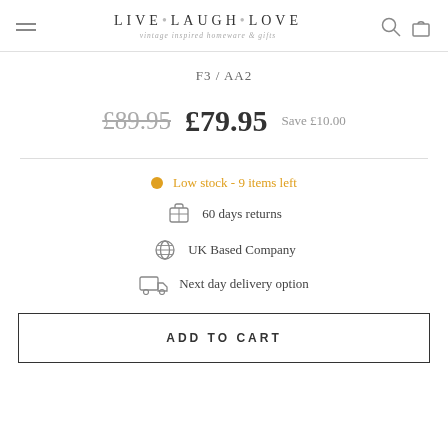LIVE·LAUGH·LOVE vintage inspired homeware & gifts
F3 / AA2
£89.95  £79.95  Save £10.00
Low stock - 9 items left
60 days returns
UK Based Company
Next day delivery option
ADD TO CART